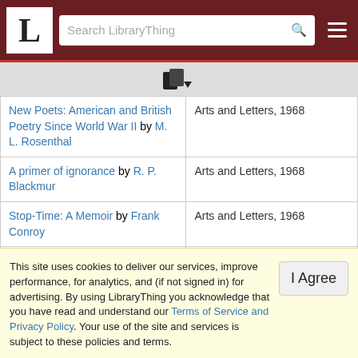LibraryThing — Search LibraryThing
[Figure (other): LibraryThing logo — letter L in white box on dark red header with search bar and hamburger menu]
| Book | Category |
| --- | --- |
| New Poets: American and British Poetry Since World War II by M. L. Rosenthal | Arts and Letters, 1968 |
| A primer of ignorance by R. P. Blackmur | Arts and Letters, 1968 |
| Stop-Time: A Memoir by Frank Conroy | Arts and Letters, 1968 |
| The Cold War As History by Louis J. Halle | History and Biography, 1968 |
This site uses cookies to deliver our services, improve performance, for analytics, and (if not signed in) for advertising. By using LibraryThing you acknowledge that you have read and understand our Terms of Service and Privacy Policy. Your use of the site and services is subject to these policies and terms.